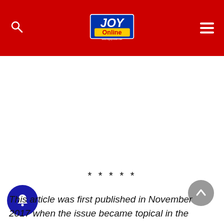[Figure (logo): JOY Online logo on red navigation header bar with search icon and hamburger menu]
*****
This article was first published in November 2017 when the issue became topical in the country.